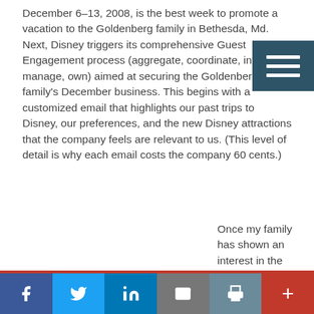December 6–13, 2008, is the best week to promote a vacation to the Goldenberg family in Bethesda, Md. Next, Disney triggers its comprehensive Guest Engagement process (aggregate, coordinate, influence, manage, own) aimed at securing the Goldenberg family's December business. This begins with a customized email that highlights our past trips to Disney, our preferences, and the new Disney attractions that the company feels are relevant to us. (This level of detail is why each email costs the company 60 cents.)
Once my family has shown an interest in the email by going onto the Disney Web site to learn more,
f  in  (email) (print) +